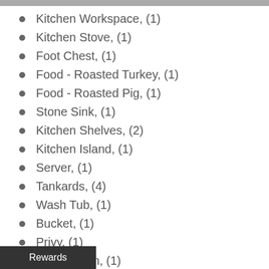Kitchen Workspace, (1)
Kitchen Stove, (1)
Foot Chest, (1)
Food - Roasted Turkey, (1)
Food - Roasted Pig, (1)
Stone Sink, (1)
Kitchen Shelves, (2)
Kitchen Island, (1)
Server, (1)
Tankards, (4)
Wash Tub, (1)
Bucket, (1)
Privy, (1)
Wash Basin, (1)
Pitcher, (1)
Outhouse, (1)
Rewards